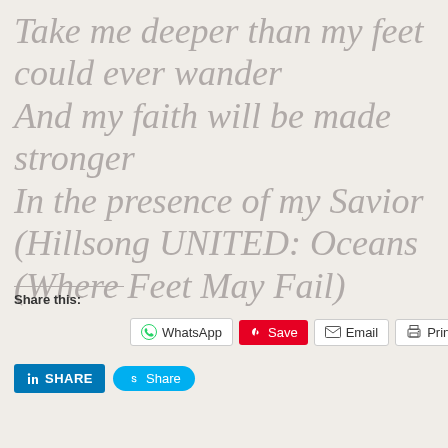Take me deeper than my feet could ever wander And my faith will be made stronger In the presence of my Savior (Hillsong UNITED: Oceans (Where Feet May Fail)
Share this:
WhatsApp Save Email Print SHARE Share